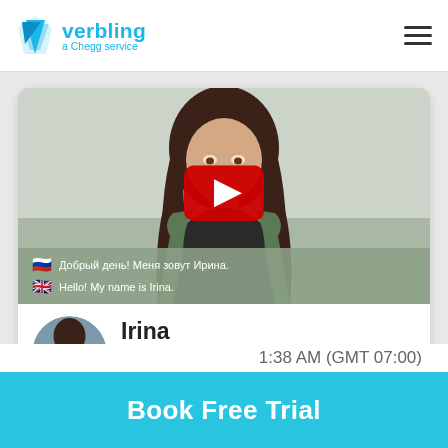[Figure (logo): Verbling logo with blue arrow icon and text 'verbling a Chegg service']
[Figure (screenshot): Video thumbnail of Irina with play button overlay and subtitle text in Russian and English: 'Добрый день! Меня зовут Ирина. Hello! My name is Irina.']
Irina Khlynova
[Figure (illustration): Three badge icons: blue shield checkmark, gold shield, US flag circle]
Book Free Trial
1:38 AM (GMT 07:00)